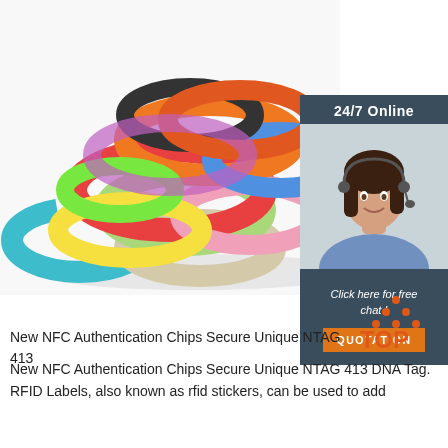[Figure (photo): Pile of colorful silicone wristbands/bracelets in various colors including red, orange, green, pink, blue, yellow, white, and black scattered on a white background.]
[Figure (infographic): Dark blue-grey sidebar panel with '24/7 Online' header text, a photo of a smiling female customer service agent wearing a headset, and a dark bottom section with italic text 'Click here for free chat!' and an orange 'QUOTATION' button.]
[Figure (logo): TOP logo with orange dots forming a triangle above the word TOP in orange on white background.]
New NFC Authentication Chips Secure Unique NTAG 413 TOP
New NFC Authentication Chips Secure Unique NTAG 413 DNA Tag. RFID Labels, also known as rfid stickers, can be used to add